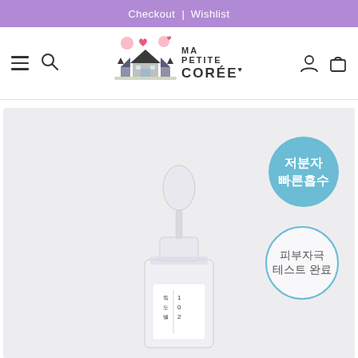Checkout | Wishlist
[Figure (logo): Ma Petite Corée logo with Korean village illustration and text MA PETITE CORÉE]
[Figure (photo): Korean skincare serum dropper bottle product image with two Korean text badges: filled blue circle saying 저분자 빠른흡수 (low molecular weight fast absorption) and outlined circle saying 피부자극 테스트 완료 (skin irritation test completed)]